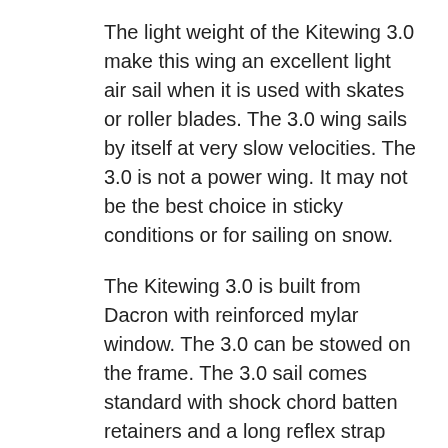The light weight of the Kitewing 3.0 make this wing an excellent light air sail when it is used with skates or roller blades. The 3.0 wing sails by itself at very slow velocities. The 3.0 is not a power wing. It may not be the best choice in sticky conditions or for sailing on snow.
The Kitewing 3.0 is built from Dacron with reinforced mylar window. The 3.0 can be stowed on the frame. The 3.0 sail comes standard with shock chord batten retainers and a long reflex strap which can be X rigged. The frame is built from the same quality components as the other wings with composite fiberglass front tubes.
A mylar or monofilm version of the 3.0 Sport is available. Inquire by e mail via the “contact